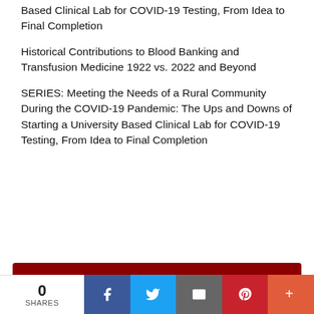Based Clinical Lab for COVID-19 Testing, From Idea to Final Completion
Historical Contributions to Blood Banking and Transfusion Medicine 1922 vs. 2022 and Beyond
SERIES: Meeting the Needs of a Rural Community During the COVID-19 Pandemic: The Ups and Downs of Starting a University Based Clinical Lab for COVID-19 Testing, From Idea to Final Completion
Do you want to write for Critical Values? Submit your idea to criticalvalues@ascp.org and include "Story Pitch" in the subject line.
0 SHARES [Facebook] [Twitter] [Email] [Pinterest] [More]